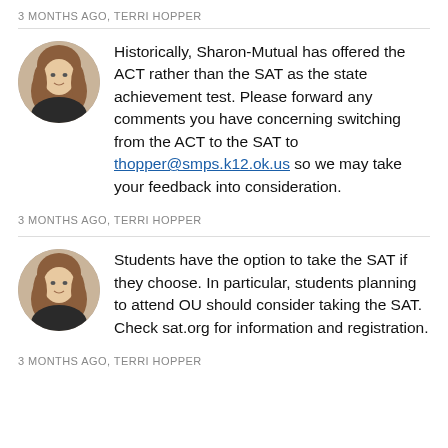3 MONTHS AGO, TERRI HOPPER
Historically, Sharon-Mutual has offered the ACT rather than the SAT as the state achievement test. Please forward any comments you have concerning switching from the ACT to the SAT to thopper@smps.k12.ok.us so we may take your feedback into consideration.
3 MONTHS AGO, TERRI HOPPER
Students have the option to take the SAT if they choose. In particular, students planning to attend OU should consider taking the SAT. Check sat.org for information and registration.
3 MONTHS AGO, TERRI HOPPER